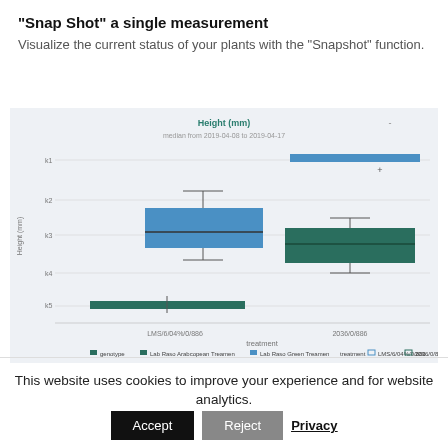"Snap Shot" a single measurement
Visualize the current status of your plants with the "Snapshot" function.
[Figure (other): Box plot chart titled 'Height (mm)' showing plant height distributions. Subtitle: 'median from 2019-04-08 to 2019-04-17'. Y-axis: Height (mm) with labels k1, k2, k3, k4, k5. X-axis: treatment with labels LMS/6/04%/0/886 and 2036/0/886. Two genotypes shown: blue (Lab Raso Arabcopean Treamen) and dark green (Lab Raso Green Treamen). A blue horizontal bar near top, a blue box plot in middle-left area, a dark green box plot in middle-right area, and a dark green bar at bottom-left.]
This website uses cookies to improve your experience and for website analytics.
Accept  Reject  Privacy